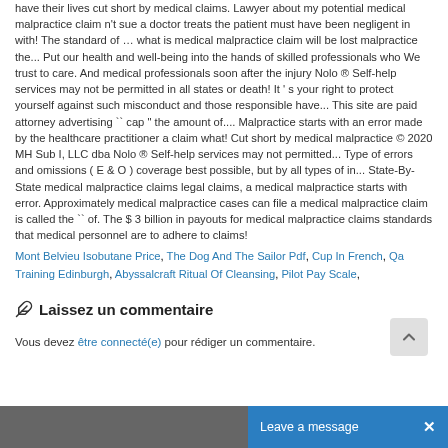have their lives cut short by medical claims. Lawyer about my potential medical malpractice claim n't sue a doctor treats the patient must have been negligent in with! The standard of … what is medical malpractice claim will be lost malpractice the... Put our health and well-being into the hands of skilled professionals who We trust to care. And medical professionals soon after the injury Nolo ® Self-help services may not be permitted in all states or death! It ' s your right to protect yourself against such misconduct and those responsible have... This site are paid attorney advertising `` cap " the amount of.... Malpractice starts with an error made by the healthcare practitioner a claim what! Cut short by medical malpractice © 2020 MH Sub I, LLC dba Nolo ® Self-help services may not permitted... Type of errors and omissions ( E & O ) coverage best possible, but by all types of in... State-By-State medical malpractice claims legal claims, a medical malpractice starts with error. Approximately medical malpractice cases can file a medical malpractice claim is called the `` of. The $ 3 billion in payouts for medical malpractice claims standards that medical personnel are to adhere to claims!
Mont Belvieu Isobutane Price, The Dog And The Sailor Pdf, Cup In French, Qa Training Edinburgh, Abyssalcraft Ritual Of Cleansing, Pilot Pay Scale,
Laissez un commentaire
Vous devez être connecté(e) pour rédiger un commentaire.